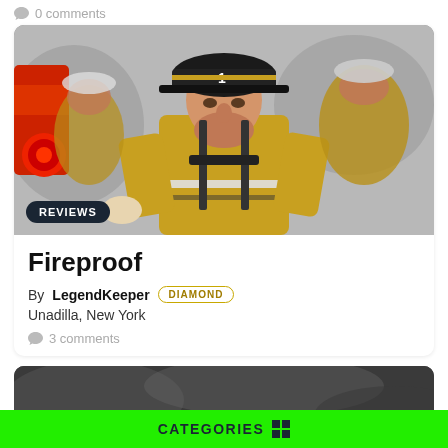0 comments
[Figure (photo): Firefighter in yellow turnout gear with helmet number 1, walking toward camera with other firefighters in background, fire truck visible]
REVIEWS
Fireproof
By LegendKeeper DIAMOND
Unadilla, New York
3 comments
[Figure (photo): Partial view of a black and white or dark image, partially visible at bottom of page]
CATEGORIES